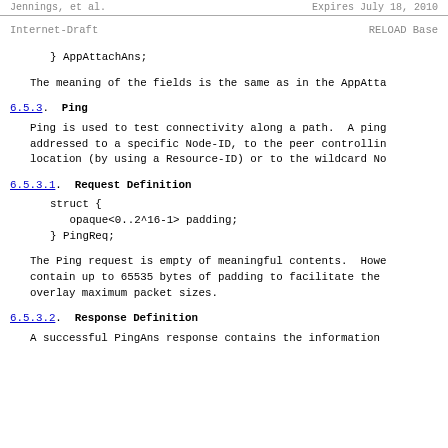Jennings, et al.    Expires July 18, 2010
Internet-Draft    RELOAD Base
} AppAttachAns;
The meaning of the fields is the same as in the AppAtta
6.5.3.  Ping
Ping is used to test connectivity along a path.  A ping addressed to a specific Node-ID, to the peer controllin location (by using a Resource-ID) or to the wildcard No
6.5.3.1.  Request Definition
struct {
   opaque<0..2^16-1> padding;
} PingReq;
The Ping request is empty of meaningful contents.  Howe contain up to 65535 bytes of padding to facilitate the overlay maximum packet sizes.
6.5.3.2.  Response Definition
A successful PingAns response contains the information